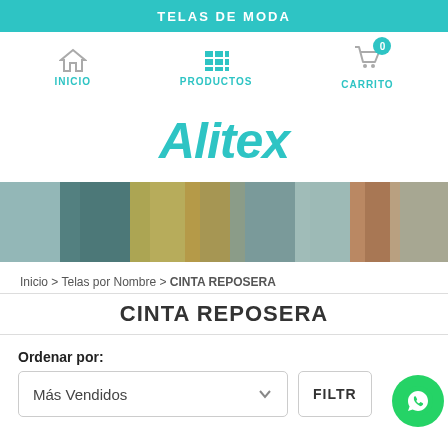TELAS DE MODA
[Figure (screenshot): Navigation bar with home icon (INICIO), grid icon (PRODUCTOS), and cart icon (CARRITO) with badge showing 0]
Alitex
[Figure (photo): Banner image showing colorful folded fabrics and textiles]
Inicio > Telas por Nombre > CINTA REPOSERA
CINTA REPOSERA
Ordenar por:
Más Vendidos
FILTRO